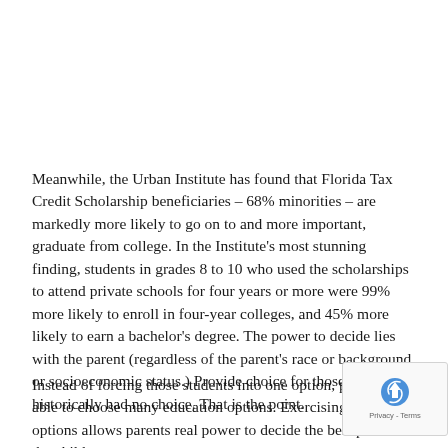Meanwhile, the Urban Institute has found that Florida Tax Credit Scholarship beneficiaries – 68% minorities – are markedly more likely to go on to and more important, graduate from college. In the Institute's most stunning finding, students in grades 8 to 10 who used the scholarships to attend private schools for four years or more were 99% more likely to enroll in four-year colleges, and 45% more likely to earn a bachelor's degree. The power to decide lies with the parent (regardless of the parent's race or background or socioeconomic status.) Provide choice for those who have historically had no choice. That is the point.
Instead of forcing those students into one option, parents are able to choose many education options. Exercising those options allows parents real power to decide the best path for the child.